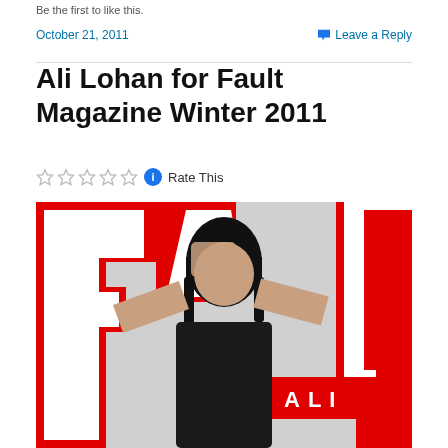Be the first to like this.
October 21, 2011    Leave a Reply
Ali Lohan for Fault Magazine Winter 2011
Rate This
[Figure (photo): Magazine cover of Fault Magazine featuring Ali Lohan in black and white photo with red graphic letters FAULT and ALI text overlay]